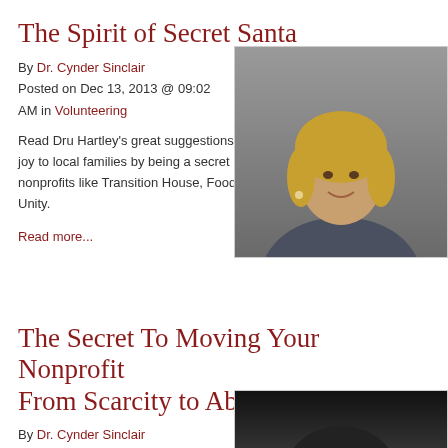The Spirit of Secret Santa
By Dr. Cynder Sinclair
Posted on Dec 13, 2013 @ 09:02 AM in Volunteering
[Figure (photo): Portrait photo of a blonde woman smiling, gray background]
Read Dru Hartley's great suggestions for bringing joy to local families by being a secret Santa for nonprofits like Transition House, Foodbank, and Unity.
Read more...
The Secret To Moving Your Nonprofit From Scarcity to Abundance
By Dr. Cynder Sinclair
Posted on Aug 21, 2013 @ 08:10
[Figure (photo): Dark photo, partially visible at bottom of page]